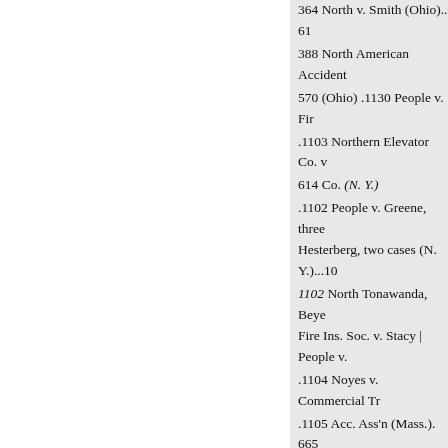364 North v. Smith (Ohio).. 61
388 North American Accident
570 (Ohio) .1130 People v. Fir
.1103 Northern Elevator Co. v
614 Co. (N. Y.)
.1102 People v. Greene, three cases; Hesterberg, two cases (N. Y.)...10
1102 North Tonawanda, Beyer Fire Ins. Soc. v. Stacy | People v.
.1104 Noyes v. Commercial Tr
.1105 Acc. Ass'n (Mass.). 665
..1102 Null, Logansport & W.
.1105 App.) 125 People v. O'D
. 1104 Null, Logansport & W.
.1104 App.) .1117 People v. Pa
. 1102 Nye v. Swift (Mass.).
652 People v. Police Com'r
York (N. Y.)